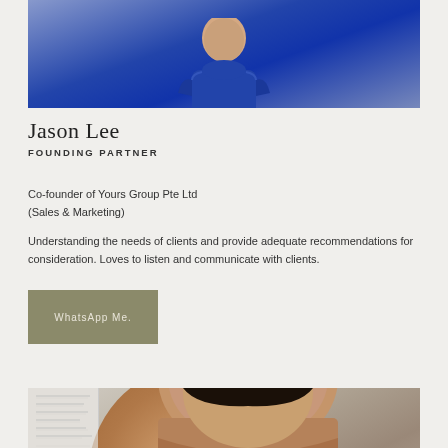[Figure (photo): Top portion of photo of Jason Lee wearing a blue polo shirt, cropped at upper body/neck area]
Jason Lee
FOUNDING PARTNER
Co-founder of Yours Group Pte Ltd
(Sales & Marketing)
Understanding the needs of clients and provide adequate recommendations for consideration. Loves to listen and communicate with clients.
[Figure (other): WhatsApp Me button with olive/khaki background color]
[Figure (photo): Bottom portion showing top of a woman's head with dark hair, partially visible, with papers/documents in background on left side]